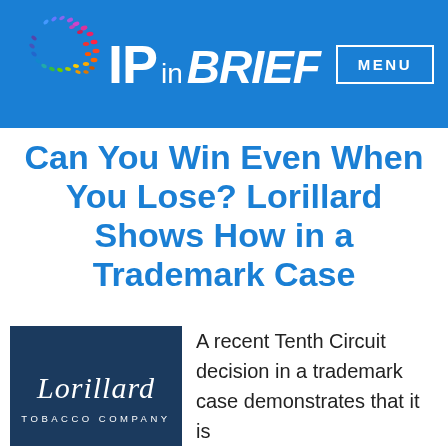IP in BRIEF — MENU
Can You Win Even When You Lose? Lorillard Shows How in a Trademark Case
[Figure (logo): Lorillard Tobacco Company logo: white cursive text on dark navy blue background]
A recent Tenth Circuit decision in a trademark case demonstrates that it is